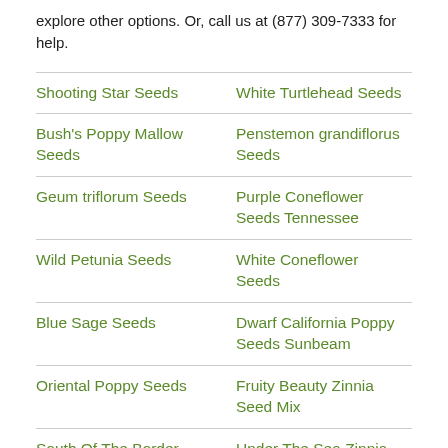explore other options. Or, call us at (877) 309-7333 for help.
| Shooting Star Seeds | White Turtlehead Seeds |
| Bush's Poppy Mallow Seeds | Penstemon grandiflorus Seeds |
| Geum triflorum Seeds | Purple Coneflower Seeds Tennessee |
| Wild Petunia Seeds | White Coneflower Seeds |
| Blue Sage Seeds | Dwarf California Poppy Seeds Sunbeam |
| Oriental Poppy Seeds | Fruity Beauty Zinnia Seed Mix |
| South Of The Border Zinnia Seed Mix | Under The Sea Zinnia Seed Mix |
| Sulphur Cosmos &... | Tall Mardi Gras... |